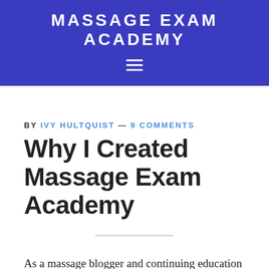MASSAGE EXAM ACADEMY
BY IVY HULTQUIST — 9 COMMENTS
Why I Created Massage Exam Academy
As a massage blogger and continuing education provider, I receive a lot of questions from people